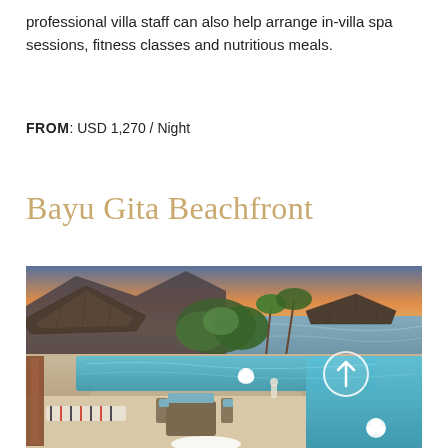professional villa staff can also help arrange in-villa spa sessions, fitness classes and nutritious meals.
FROM: USD 1,270 / Night
Bayu Gita Beachfront
[Figure (photo): Aerial/elevated view of a luxury beachfront villa in Bali at sunset, showing thatched-roof pavilions, tropical gardens, infinity pool, outdoor lounge furniture, and the ocean in the background. A white circle with an upward arrow is visible on the right side of the image.]